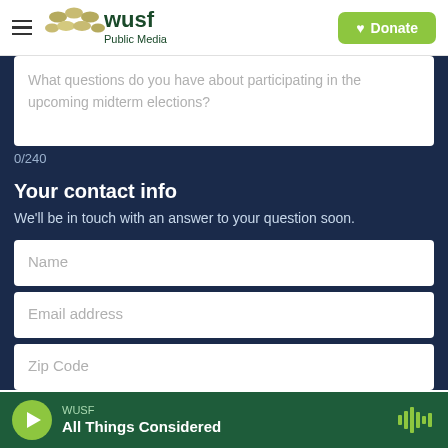[Figure (logo): WUSF Public Media logo with golden dots and green text, hamburger menu icon on left, green Donate button with heart icon on right]
What questions do you have about participating in the upcoming midterm elections?
0/240
Your contact info
We'll be in touch with an answer to your question soon.
Name
Email address
Zip Code
WUSF · All Things Considered